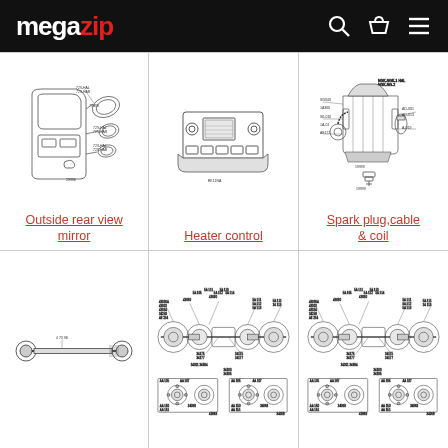megazip
[Figure (engineering-diagram): Outside rear view mirror exploded parts diagram with part numbers]
Outside rear view mirror
[Figure (engineering-diagram): Heater control panel exploded parts diagram with part numbers]
Heater control
[Figure (engineering-diagram): Spark plug, cable and coil engine diagram with part numbers]
Spark plug,cable & coil
[Figure (engineering-diagram): Axle shaft simple diagram]
[Figure (engineering-diagram): Front axle exploded parts diagram with detailed part numbers and sub-assembly diagrams]
[Figure (engineering-diagram): Front axle exploded parts diagram (alternate) with detailed part numbers and sub-assembly diagrams]